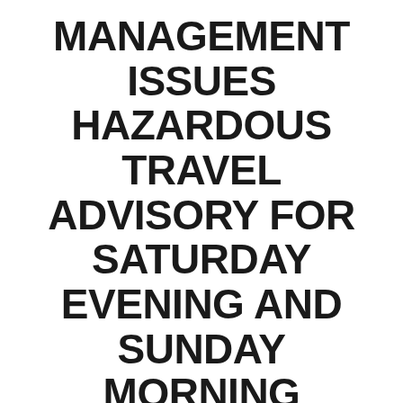MANAGEMENT ISSUES HAZARDOUS TRAVEL ADVISORY FOR SATURDAY EVENING AND SUNDAY MORNING
Winter Storm Watch in effect from 7 p.m. Saturday through 7 a.m. Sunday